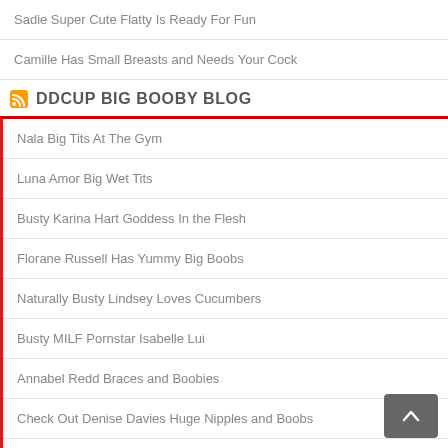Sadie Super Cute Flatty Is Ready For Fun
Camille Has Small Breasts and Needs Your Cock
DDCUP BIG BOOBY BLOG
Nala Big Tits At The Gym
Luna Amor Big Wet Tits
Busty Karina Hart Goddess In the Flesh
Florane Russell Has Yummy Big Boobs
Naturally Busty Lindsey Loves Cucumbers
Busty MILF Pornstar Isabelle Lui
Annabel Redd Braces and Boobies
Check Out Denise Davies Huge Nipples and Boobs
Throwback Big Tits With UK Page 3 Model Lizzie Goldsmith
Russian Hotty Sigal Acon Has Big Breasts